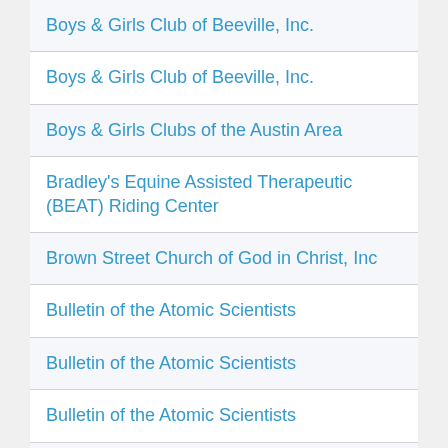| Boys & Girls Club of Beeville, Inc. |
| Boys & Girls Club of Beeville, Inc. |
| Boys & Girls Clubs of the Austin Area |
| Bradley's Equine Assisted Therapeutic (BEAT) Riding Center |
| Brown Street Church of God in Christ, Inc |
| Bulletin of the Atomic Scientists |
| Bulletin of the Atomic Scientists |
| Bulletin of the Atomic Scientists |
| Bulletin of the Atomic Scientists |
| Cambridge Community Center |
| Cambridge Community Center |